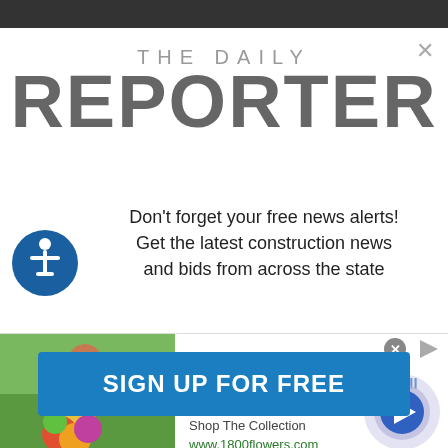[Figure (logo): The Daily Reporter newspaper logo in gray text]
Don't forget your free news alerts! Get the latest construction news and bids from across the state
[Figure (infographic): Advertisement banner: Trending Flowers & Gifts For All Occasions - Shop The Collection - www.1800flowers.com]
SIGN UP FOR FREE